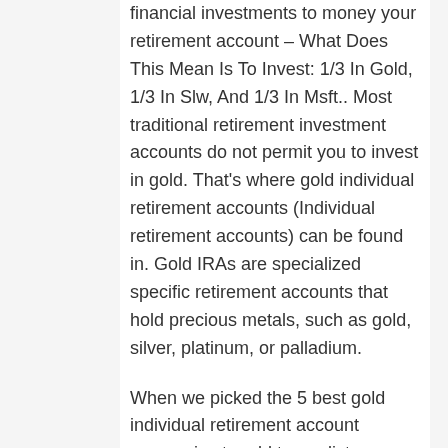financial investments to money your retirement account – What Does This Mean Is To Invest: 1/3 In Gold, 1/3 In Slw, And 1/3 In Msft.. Most traditional retirement investment accounts do not permit you to invest in gold. That's where gold individual retirement accounts (Individual retirement accounts) can be found in. Gold IRAs are specialized specific retirement accounts that hold precious metals, such as gold, silver, platinum, or palladium.
When we picked the 5 best gold individual retirement account companies to add to our list, we looked for a series of aspects that show that they're in a most able